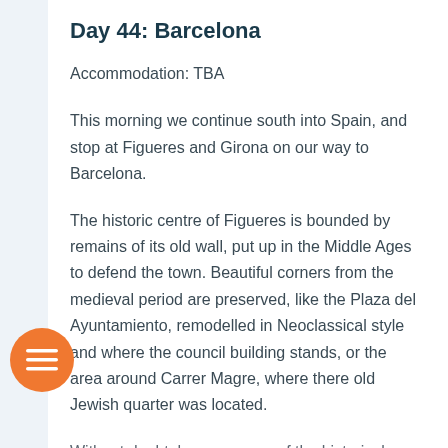Day 44: Barcelona
Accommodation: TBA
This morning we continue south into Spain, and stop at Figueres and Girona on our way to Barcelona.
The historic centre of Figueres is bounded by remains of its old wall, put up in the Middle Ages to defend the town. Beautiful corners from the medieval period are preserved, like the Plaza del Ayuntamiento, remodelled in Neoclassical style and where the council building stands, or the area around Carrer Magre, where there old Jewish quarter was located.
Without doubt, however, one of the historical